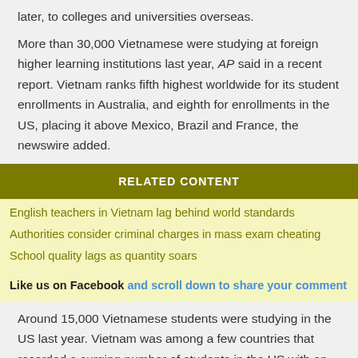later, to colleges and universities overseas.
More than 30,000 Vietnamese were studying at foreign higher learning institutions last year, AP said in a recent report. Vietnam ranks fifth highest worldwide for its student enrollments in Australia, and eighth for enrollments in the US, placing it above Mexico, Brazil and France, the newswire added.
RELATED CONTENT
English teachers in Vietnam lag behind world standards
Authorities consider criminal charges in mass exam cheating
School quality lags as quantity soars
Like us on Facebook and scroll down to share your comment
Around 15,000 Vietnamese students were studying in the US last year. Vietnam was among a few countries that recorded a surging number of students in the US with an increase of 14 percent from the previous year, according to the Open Doors 2011 report commissioned by the New York-based Institute of International Education.
But the craze for "international" education has not translated into quality